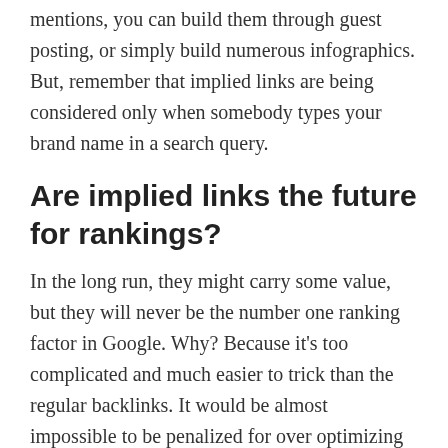mentions, you can build them through guest posting, or simply build numerous infographics. But, remember that implied links are being considered only when somebody types your brand name in a search query.
Are implied links the future for rankings?
In the long run, they might carry some value, but they will never be the number one ranking factor in Google. Why? Because it’s too complicated and much easier to trick than the regular backlinks. It would be almost impossible to be penalized for over optimizing your anchor texts, or building too many citations.